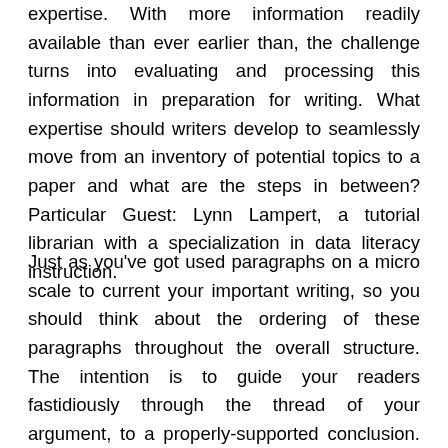expertise. With more information readily available than ever earlier than, the challenge turns into evaluating and processing this information in preparation for writing. What expertise should writers develop to seamlessly move from an inventory of potential topics to a paper and what are the steps in between? Particular Guest: Lynn Lampert, a tutorial librarian with a specialization in data literacy instruction.
Just as you've got used paragraphs on a micro scale to current your important writing, so you should think about the ordering of these paragraphs throughout the overall structure. The intention is to guide your readers fastidiously through the thread of your argument, to a properly-supported conclusion. There is plenty of scopes to get creative in the introduction of essays. It will ensure that you hook the reader, i.e. draw and maintain his